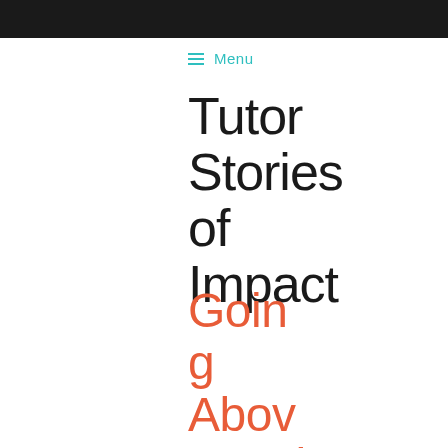≡ Menu
Tutor Stories of Impact
Going Above and Beyond: Orga